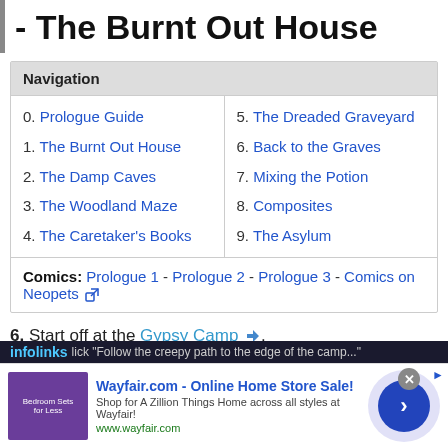- The Burnt Out House
| Navigation |
| --- |
| 0. Prologue Guide | 5. The Dreaded Graveyard |
| 1. The Burnt Out House | 6. Back to the Graves |
| 2. The Damp Caves | 7. Mixing the Potion |
| 3. The Woodland Maze | 8. Composites |
| 4. The Caretaker's Books | 9. The Asylum |
| Comics: Prologue 1 - Prologue 2 - Prologue 3 - Comics on Neopets |  |
6. Start off at the Gypsy Camp.
lick "Follow the creepy path to the edge of the camp..."
[Figure (screenshot): Wayfair.com advertisement banner with infolinks label, showing bedroom furniture image, ad title 'Wayfair.com - Online Home Store Sale!', description text, URL, and a blue circular arrow button.]